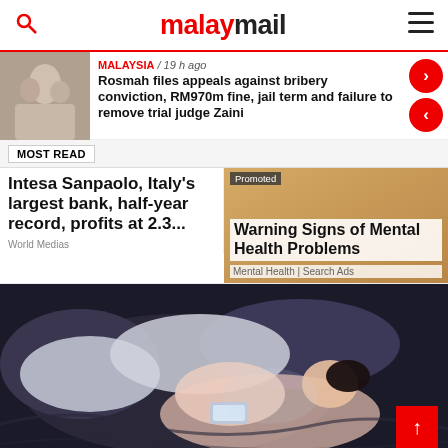malaymail
MALAYSIA / 19 h ago
Rosmah files appeals against bribery conviction, RM970m fine, jail term and failure to remove trial judge Zaini
MOST READ
Intesa Sanpaolo, Italy's largest bank, half-year record, profits at 2.3...
World Medias
Promoted
Warning Signs of Mental Health Problems
Mental Health | Search Ads
[Figure (photo): Woman lying in bed looking at phone screen in dark room]